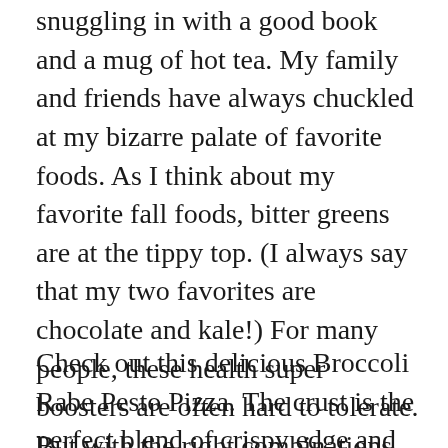snuggling in with a good book and a mug of hot tea. My family and friends have always chuckled at my bizarre palate of favorite foods. As I think about my favorite fall foods, bitter greens are at the tippy top. (I always say that my two favorites are chocolate and kale!) For many people, these health super boosters are often hard to tolerate. But with the right combinations, the bitterness can definitely be tempered.
Check out this delicious Broccoli Rabe Pesto Pizza. The crust is the perfect blend of crispy edge and soft middle. The broccoli rabe is